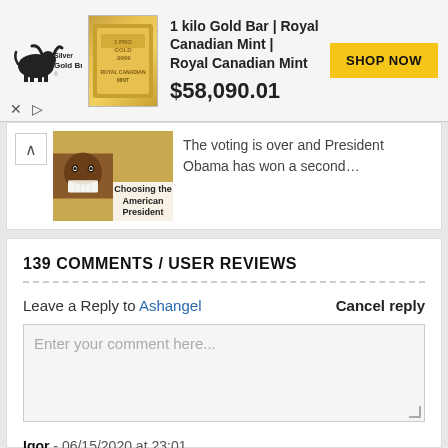[Figure (screenshot): Silver Gold Bull advertisement banner showing a 1 kilo gold bar product with price $58,090.01 and SHOP NOW button]
The voting is over and President Obama has won a second...
139 COMMENTS / USER REVIEWS
Leave a Reply to Ashangel   Cancel reply
Enter your comment here...
Igor - 06/15/2020 at 23:01